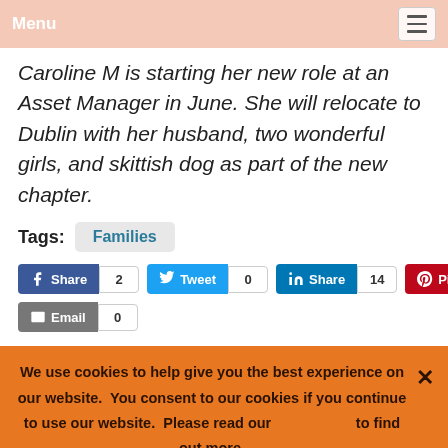Menu
Caroline M is starting her new role at an Asset Manager in June. She will relocate to Dublin with her husband, two wonderful girls, and skittish dog as part of the new chapter.
Tags: Families
Share 2 | Tweet 0 | Share 14 | Pin 0 | Email 0
We use cookies to help give you the best experience on our website. You consent to our cookies if you continue to use our website. Please read our ... to find out more.